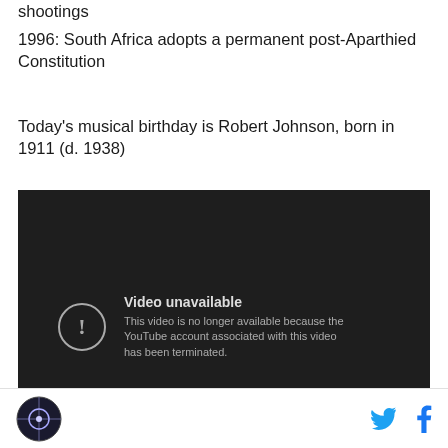shootings
1996: South Africa adopts a permanent post-Aparthied Constitution
Today's musical birthday is Robert Johnson, born in 1911 (d. 1938)
[Figure (screenshot): Embedded YouTube video player showing 'Video unavailable' error message: 'This video is no longer available because the YouTube account associated with this video has been terminated.']
Site logo icon on left; Twitter and Facebook social share icons on right